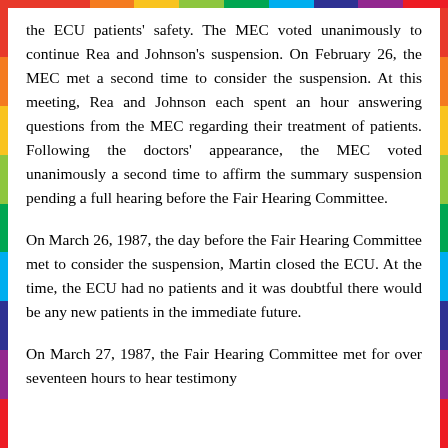the ECU patients' safety. The MEC voted unanimously to continue Rea and Johnson's suspension. On February 26, the MEC met a second time to consider the suspension. At this meeting, Rea and Johnson each spent an hour answering questions from the MEC regarding their treatment of patients. Following the doctors' appearance, the MEC voted unanimously a second time to affirm the summary suspension pending a full hearing before the Fair Hearing Committee.
On March 26, 1987, the day before the Fair Hearing Committee met to consider the suspension, Martin closed the ECU. At the time, the ECU had no patients and it was doubtful there would be any new patients in the immediate future.
On March 27, 1987, the Fair Hearing Committee met for over seventeen hours to hear testimony